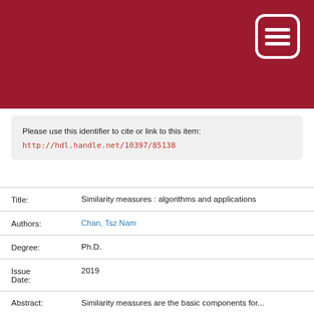[Figure (logo): Dark red institutional header banner with a white document/menu icon (rounded rectangle with three horizontal lines) in the top-right corner.]
Please use this identifier to cite or link to this item:
http://hdl.handle.net/10397/85138
| Title: | Similarity measures : algorithms and applications |
| Authors: | Chan, Tsz Nam |
| Degree: | Ph.D. |
| Issue Date: | 2019 |
| Abstract: | Similarity measures are the basic components for... |